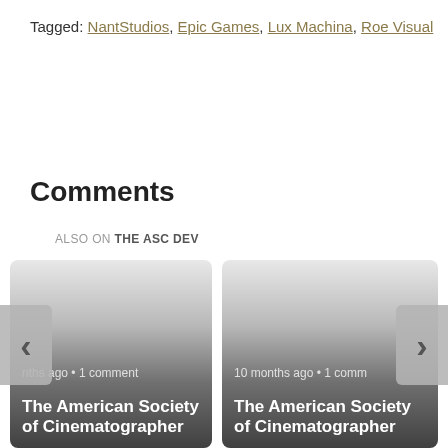Tagged: NantStudios, Epic Games, Lux Machina, Roe Visual
Comments
ALSO ON THE ASC DEV
[Figure (screenshot): Two card-style comment widgets side by side, each showing 'The American Society of Cinematographers' title with metadata. Left card: 'nths ago • 1 comment'. Right card: '10 months ago • 1 comm'. Navigation arrows on left and right edges.]